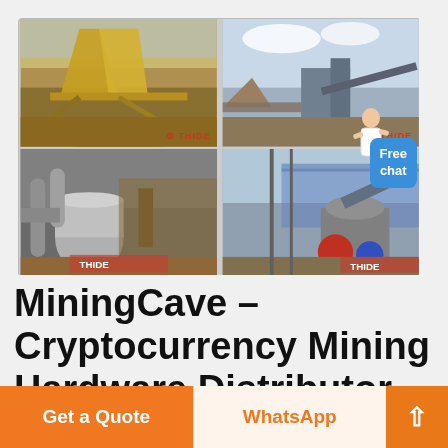[Figure (photo): 2x2 grid of industrial mining/quarry site photos showing heavy machinery, conveyors, crushers, and industrial equipment. Each photo has a red 'THIDE' watermark. A customer service representative figure and a blue 'Free chat' button overlay the top-right corner.]
MiningCave – Cryptocurrency Mining Hardware Distributor ...
Get a Quote
WhatsApp